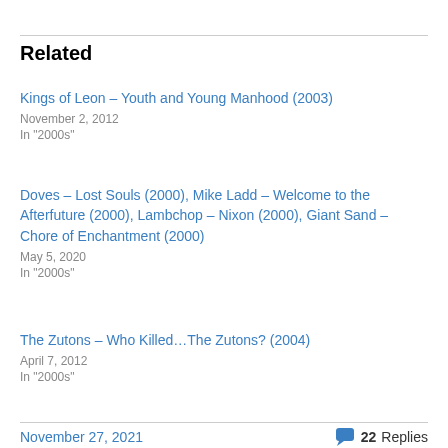Related
Kings of Leon – Youth and Young Manhood (2003)
November 2, 2012
In "2000s"
Doves – Lost Souls (2000), Mike Ladd – Welcome to the Afterfuture (2000), Lambchop – Nixon (2000), Giant Sand – Chore of Enchantment (2000)
May 5, 2020
In "2000s"
The Zutons – Who Killed…The Zutons? (2004)
April 7, 2012
In "2000s"
November 27, 2021   💬 22 Replies